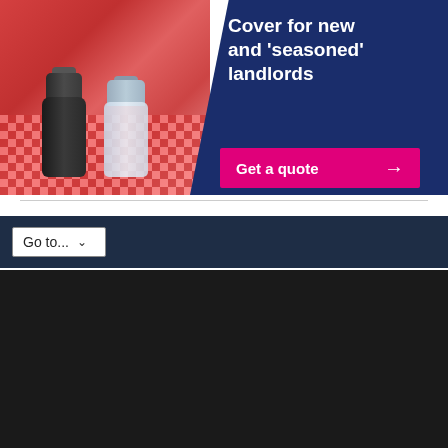[Figure (infographic): Advertisement banner showing salt and pepper shakers on a red checkered tablecloth background, with navy blue panel containing text 'Cover for new and seasoned landlords' and a pink 'Get a quote' button with arrow.]
Cover for new and 'seasoned' landlords
Get a quote →
Go to...
- Advertisement -
[Figure (infographic): Hamilton Fraser Total Landlord Mortgages advertisement banner. Shows logo on left, photo of house figurines and keys, navy panel with text 'Property experts supporting you in finding the right financial solution', pink 'Request a callback' button with arrow, and disclaimer 'Your home may be repossessed if you do not keep up repayments on your mortgage'.]